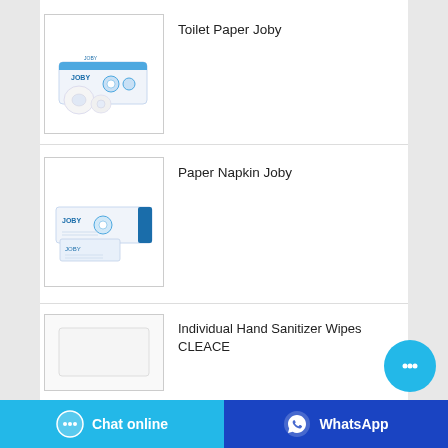[Figure (photo): Toilet Paper Joby product photo - a box of toilet rolls]
Toilet Paper Joby
[Figure (photo): Paper Napkin Joby product photo - a box of paper napkins]
Paper Napkin Joby
[Figure (photo): Individual Hand Sanitizer Wipes CLEACE product image (partially visible)]
Individual Hand Sanitizer Wipes CLEACE